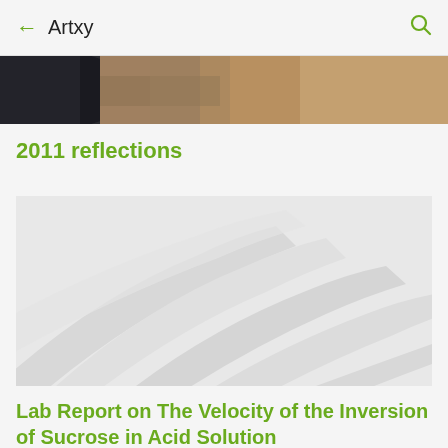← Artxy 🔍
[Figure (photo): Partial photo showing a dark rocky landscape on the left and a warm brownish-orange sky/sunset scene on the right, cropped at the top]
2011 reflections
[Figure (photo): Abstract light gray background with subtle diagonal swirling ribbon/wave shapes in slightly lighter gray tones]
Lab Report on The Velocity of the Inversion of Sucrose in Acid Solution